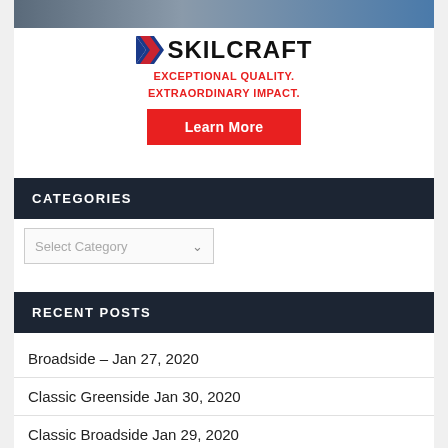[Figure (photo): Partial photo strip at top of page showing people, partially cropped]
[Figure (logo): SKILCRAFT logo with chevron icon, tagline EXCEPTIONAL QUALITY. EXTRAORDINARY IMPACT. and a red Learn More button]
CATEGORIES
Select Category
RECENT POSTS
Broadside – Jan 27, 2020
Classic Greenside Jan 30, 2020
Classic Broadside Jan 29, 2020